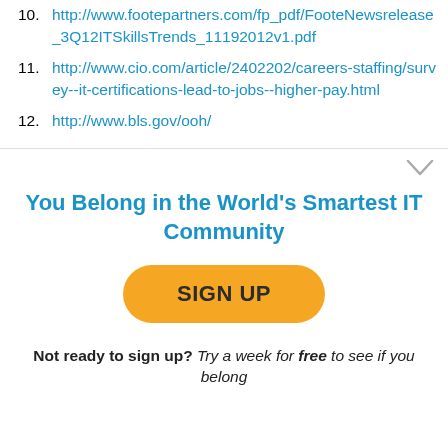10. http://www.footepartners.com/fp_pdf/FooteNewsrelease_3Q12ITSkillsTrends_11192012v1.pdf
11. http://www.cio.com/article/2402202/careers-staffing/survey--it-certifications-lead-to-jobs--higher-pay.html
12. http://www.bls.gov/ooh/
You Belong in the World's Smartest IT Community
SIGN UP
Not ready to sign up? Try a week for free to see if you belong